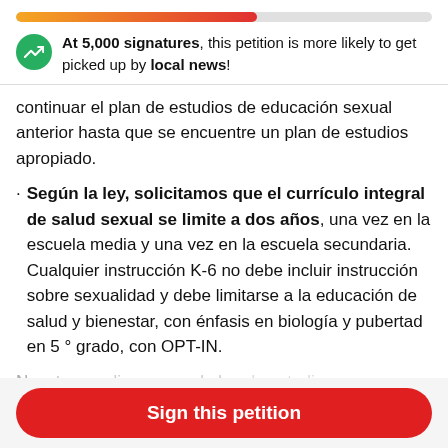[Figure (infographic): Horizontal progress bar filled about 58% with a gradient from orange to red on a light gray background track.]
At 5,000 signatures, this petition is more likely to get picked up by local news!
continuar el plan de estudios de educación sexual anterior hasta que se encuentre un plan de estudios apropiado.
· Según la ley, solicitamos que el currículo integral de salud sexual se limite a dos años, una vez en la escuela media y una vez en la escuela secundaria. Cualquier instrucción K-6 no debe incluir instrucción sobre sexualidad y debe limitarse a la educación de salud y bienestar, con énfasis en biología y pubertad en 5 ° grado, con OPT-IN.
Nosotros pedimos...
Sign this petition